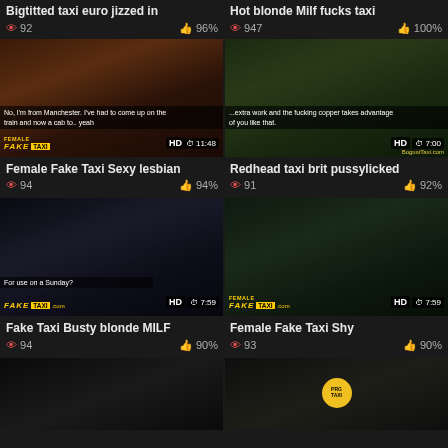Bigtitted taxi euro jizzed in
92 views · 96%
[Figure (photo): Thumbnail of redhead woman in taxi backseat]
Female Fake Taxi Sexy lesbian
94 views · 94%
Hot blonde Milf fucks taxi
947 views · 100%
[Figure (photo): Thumbnail of woman in yellow top in taxi]
Redhead taxi brit pussylicked
91 views · 92%
[Figure (photo): Thumbnail of blonde woman lying in taxi]
Fake Taxi Busty blonde MILF
94 views · 90%
[Figure (photo): Thumbnail of two people in taxi with Female Fake Taxi logo]
Female Fake Taxi Shy
93 views · 90%
[Figure (photo): Partial thumbnail of taxi interior]
[Figure (photo): Partial thumbnail of taxi with PRG TAXI sign]